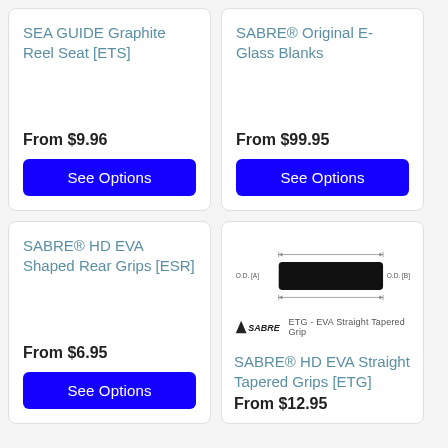SEA GUIDE Graphite Reel Seat [ETS]
From $9.96
See Options
SABRE® Original E-Glass Blanks
From $99.95
See Options
SABRE® HD EVA Shaped Rear Grips [ESR]
From $6.95
See Options
[Figure (illustration): ETG EVA Straight Tapered Grip diagram showing grip shape with O.D. [A] and O.D. [B] labels, SABRE logo and ETG - EVA Straight Tapered Grip label]
SABRE® HD EVA Straight Tapered Grips [ETG]
From $12.95